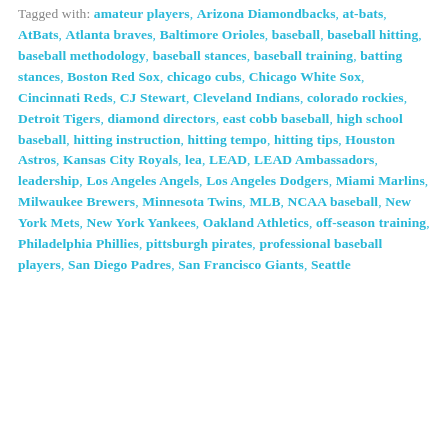Tagged with: amateur players, Arizona Diamondbacks, at-bats, AtBats, Atlanta braves, Baltimore Orioles, baseball, baseball hitting, baseball methodology, baseball stances, baseball training, batting stances, Boston Red Sox, chicago cubs, Chicago White Sox, Cincinnati Reds, CJ Stewart, Cleveland Indians, colorado rockies, Detroit Tigers, diamond directors, east cobb baseball, high school baseball, hitting instruction, hitting tempo, hitting tips, Houston Astros, Kansas City Royals, lea, LEAD, LEAD Ambassadors, leadership, Los Angeles Angels, Los Angeles Dodgers, Miami Marlins, Milwaukee Brewers, Minnesota Twins, MLB, NCAA baseball, New York Mets, New York Yankees, Oakland Athletics, off-season training, Philadelphia Phillies, pittsburgh pirates, professional baseball players, San Diego Padres, San Francisco Giants, Seattle